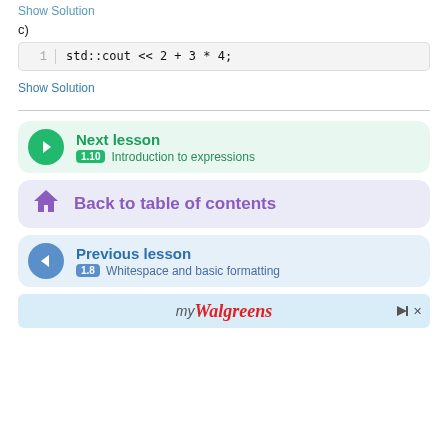Show Solution
c)
std::cout << 2 + 3 * 4;
Show Solution
Next lesson 1.10 Introduction to expressions
Back to table of contents
Previous lesson 1.8 Whitespace and basic formatting
[Figure (other): myWalgreens advertisement banner]